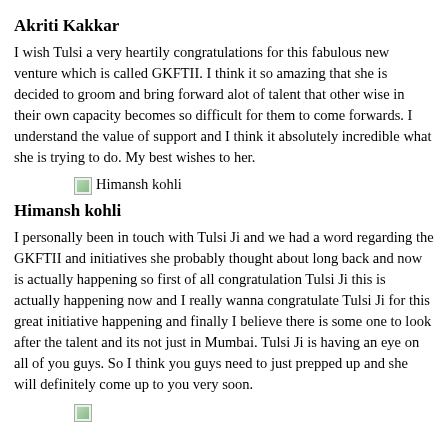Akriti Kakkar
I wish Tulsi a very heartily congratulations for this fabulous new venture which is called GKFTII. I think it so amazing that she is decided to groom and bring forward alot of talent that other wise in their own capacity becomes so difficult for them to come forwards. I understand the value of support and I think it absolutely incredible what she is trying to do. My best wishes to her.
[Figure (photo): Small thumbnail image of Himansh kohli]
Himansh kohli
I personally been in touch with Tulsi Ji and we had a word regarding the GKFTII and initiatives she probably thought about long back and now is actually happening so first of all congratulation Tulsi Ji this is actually happening now and I really wanna congratulate Tulsi Ji for this great initiative happening and finally I believe there is some one to look after the talent and its not just in Mumbai. Tulsi Ji is having an eye on all of you guys. So I think you guys need to just prepped up and she will definitely come up to you very soon.
[Figure (photo): Small thumbnail image at bottom of page (partially visible)]